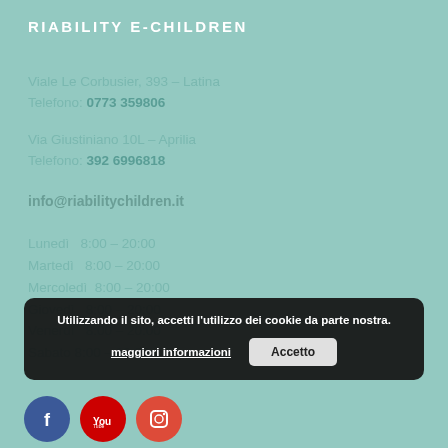RIABILITY E-CHILDREN
Viale Le Corbusier, 393 – Latina
Telefono: 0773 359806
Via Giustiniano 10L – Aprilia
Telefono: 392 6996818
info@riabilitychildren.it
Lunedì  8:00 – 20:00
Martedì  8:00 – 20:00
Mercoledì  8:00 – 20:00
Giovedì  8:00 – 20:00
Venerdì  8:00 – 20:00
Sabato 8:00 – 18:00
Utilizzando il sito, accetti l'utilizzo dei cookie da parte nostra.
maggiori informazioni   Accetto
[Figure (illustration): Social media icons: Facebook (blue circle), YouTube (red circle), Instagram (red-orange circle)]